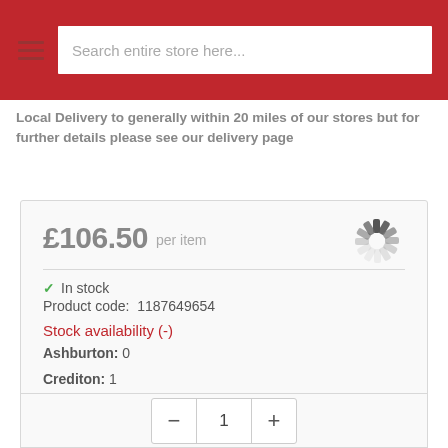Search entire store here...
Local Delivery to generally within 20 miles of our stores but for further details please see our delivery page
£106.50 per item
✓ In stock
Product code: 1187649654
Stock availability (-)
Ashburton: 0
Crediton: 1
1